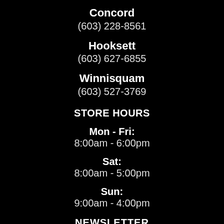Concord
(603) 228-8561
Hooksett
(603) 627-6855
Winnisquam
(603) 527-3769
STORE HOURS
Mon - Fri:
8:00am - 6:00pm
Sat:
8:00am - 5:00pm
Sun:
9:00am - 4:00pm
NEWSLETTER